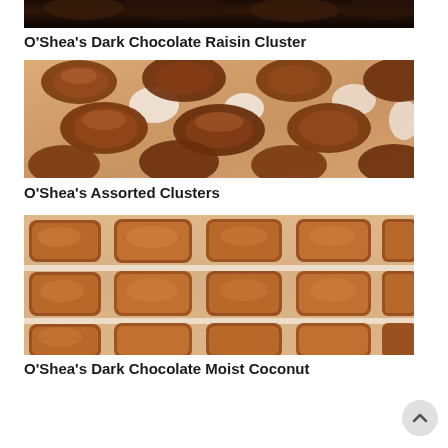[Figure (photo): Top portion of dark chocolate raisin cluster product, showing dark glossy chocolate surface, cropped at top]
O’Shea’s Dark Chocolate Raisin Cluster
[Figure (photo): Overhead view of multiple dark chocolate raisin clusters spread on a white surface, showing irregular rounded shapes coated in dark brown chocolate]
O’Shea’s Assorted Clusters
[Figure (photo): Close-up overhead view of rows of rectangular milk chocolate moist coconut candies on a white surface, showing smooth shiny chocolate coating]
O’Shea’s Dark Chocolate Moist Coconut